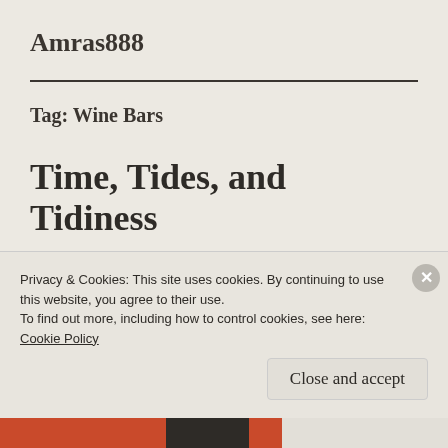Amras888
Tag: Wine Bars
Time, Tides, and Tidiness
Privacy & Cookies: This site uses cookies. By continuing to use this website, you agree to their use.
To find out more, including how to control cookies, see here:
Cookie Policy
Close and accept